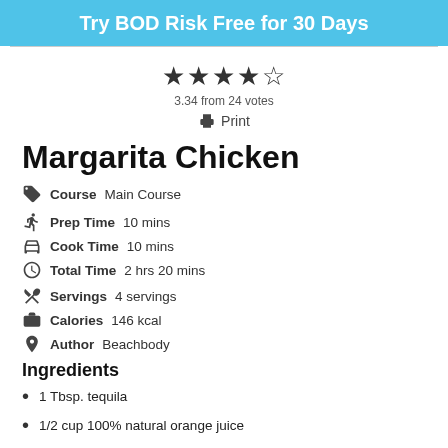Try BOD Risk Free for 30 Days
3.34 from 24 votes
Print
Margarita Chicken
Course Main Course
Prep Time 10 mins
Cook Time 10 mins
Total Time 2 hrs 20 mins
Servings 4 servings
Calories 146 kcal
Author Beachbody
Ingredients
1 Tbsp. tequila
1/2 cup 100% natural orange juice
2 Tbsp. fresh lime juice